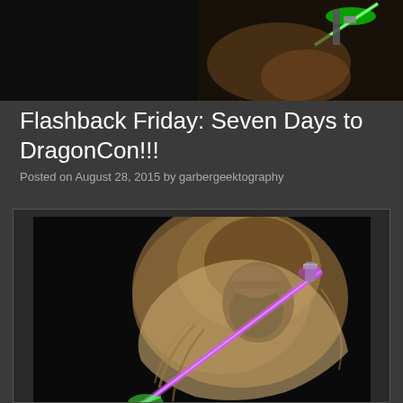[Figure (photo): Top partial photo showing green lightsaber glow and cosplay props on dark background]
Flashback Friday: Seven Days to DragonCon!!!
Posted on August 28, 2015 by garbergeektography
[Figure (photo): DragonCon cosplayer dressed as a Star Wars alien Jedi character holding a purple lightsaber, black background]